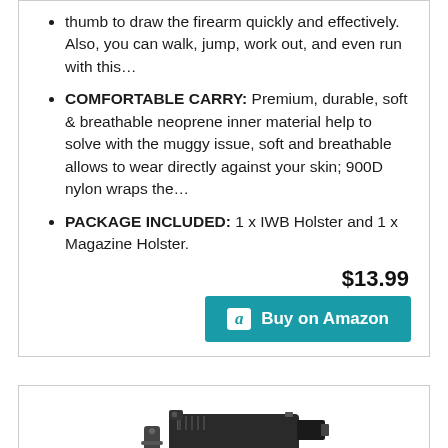thumb to draw the firearm quickly and effectively. Also, you can walk, jump, work out, and even run with this...
COMFORTABLE CARRY: Premium, durable, soft & breathable neoprene inner material help to solve with the muggy issue, soft and breathable allows to wear directly against your skin; 900D nylon wraps the...
PACKAGE INCLUDED: 1 x IWB Holster and 1 x Magazine Holster.
$13.99
Buy on Amazon
[Figure (photo): Product photo of a black pistol with holster clip attachment, partially visible at the bottom of the page]